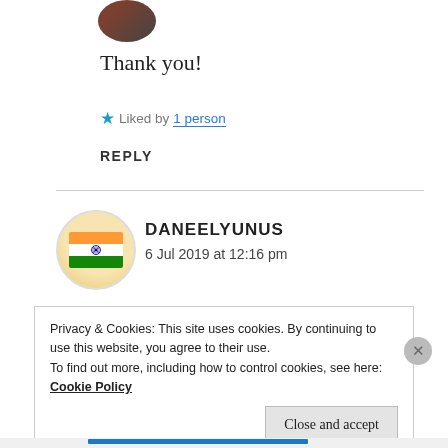[Figure (photo): Circular avatar photo of a person, partially cropped at top]
Thank you!
★ Liked by 1 person
REPLY
[Figure (photo): Circular avatar showing Indian flag]
DANEELYUNUS
6 Jul 2019 at 12:16 pm
Privacy & Cookies: This site uses cookies. By continuing to use this website, you agree to their use.
To find out more, including how to control cookies, see here: Cookie Policy
Close and accept